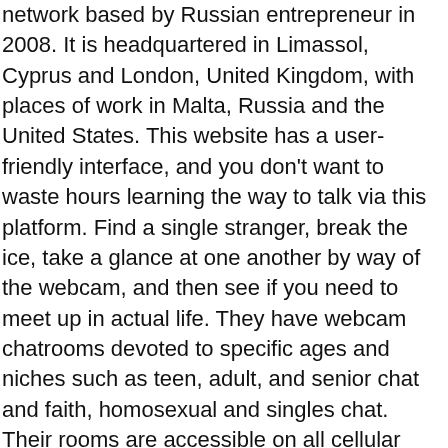network based by Russian entrepreneur in 2008. It is headquartered in Limassol, Cyprus and London, United Kingdom, with places of work in Malta, Russia and the United States. This website has a user-friendly interface, and you don't want to waste hours learning the way to talk via this platform. Find a single stranger, break the ice, take a glance at one another by way of the webcam, and then see if you need to meet up in actual life. They have webcam chatrooms devoted to specific ages and niches such as teen, adult, and senior chat and faith, homosexual and singles chat. Their rooms are accessible on all cellular units but work finest on desktops.
You can even take your conversations on the platform on the go with their app, available for iOS and Android. IMeetzu really goes far to advertise getting to know each other and having enjoyable. It's top-of-the-line websites because it makes it easy, especially in the group chat rooms, for folks to connect. Bazoocam is another nice web site for random video chat encounters. It's a super simple, streamlined interface that makes it easy for users to get began. One factor that sets it